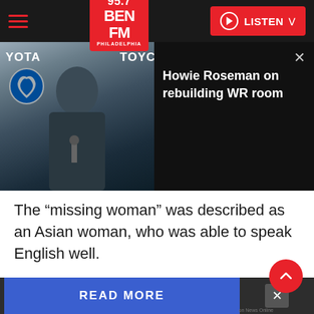[Figure (screenshot): 95.7 BEN FM Philadelphia radio station website header with hamburger menu, logo, and red LISTEN button]
[Figure (photo): Man (Howie Roseman) speaking at a press conference with Toyota and Philadelphia Eagles branding in background]
Howie Roseman on rebuilding WR room
The “missing woman” was described as an Asian woman, who was able to speak English well.
Apparently, the woman didn’t realize the “missing person” was actually herself, and
READ MORE